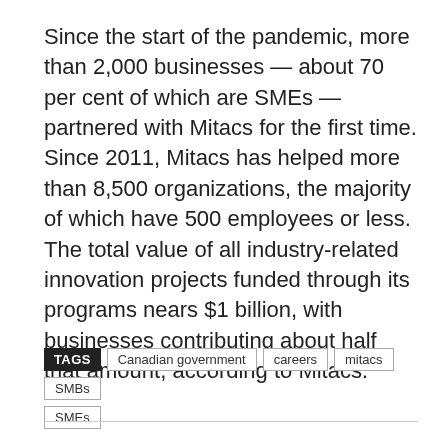Since the start of the pandemic, more than 2,000 businesses — about 70 per cent of which are SMEs — partnered with Mitacs for the first time. Since 2011, Mitacs has helped more than 8,500 organizations, the majority of which have 500 employees or less. The total value of all industry-related innovation projects funded through its programs nears $1 billion, with businesses contributing about half that amount, according to Mitacs.
TAGS: Canadian government, careers, mitacs, SMBs, SMEs